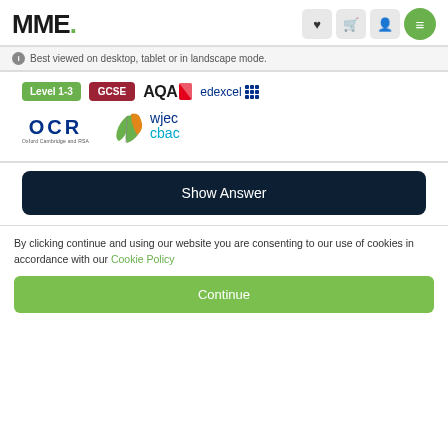MME.
Best viewed on desktop, tablet or in landscape mode.
[Figure (logo): Level 1-3 green badge, GCSE dark red badge, AQA logo, Edexcel logo with grid, OCR logo, WJEC CBAC logo]
Show Answer
By clicking continue and using our website you are consenting to our use of cookies in accordance with our Cookie Policy
Continue